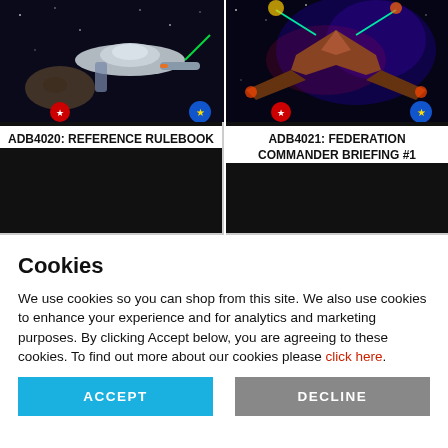[Figure (screenshot): Product image for ADB4020 Reference Rulebook showing a starship in space]
ADB4020: REFERENCE RULEBOOK
[Figure (screenshot): Product image for ADB4021 Federation Commander Briefing #1 showing a space battle]
ADB4021: FEDERATION COMMANDER BRIEFING #1
Cookies
We use cookies so you can shop from this site. We also use cookies to enhance your experience and for analytics and marketing purposes. By clicking Accept below, you are agreeing to these cookies. To find out more about our cookies please click here.
ACCEPT
DECLINE